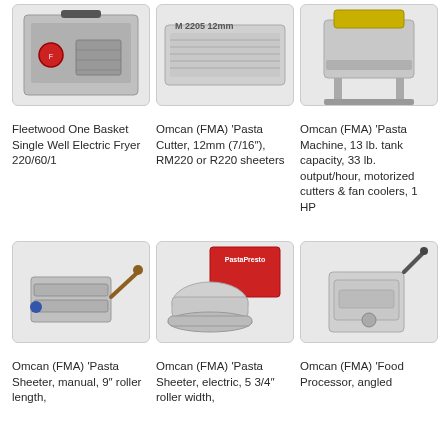[Figure (photo): Fleetwood One Basket Single Well Electric Fryer machine photo]
Fleetwood One Basket Single Well Electric Fryer 220/60/1
[Figure (photo): Omcan (FMA) Pasta Cutter 12mm showing roller label M 2205 12mm]
Omcan (FMA) 'Pasta Cutter, 12mm (7/16"), RM220 or R220 sheeters
[Figure (photo): Omcan (FMA) Pasta Machine on stand]
Omcan (FMA) 'Pasta Machine, 13 lb. tank capacity, 33 lb. output/hour, motorized cutters & fan coolers, 1 HP
[Figure (photo): Omcan (FMA) Pasta Sheeter manual with handle]
Omcan (FMA) 'Pasta Sheeter, manual, 9" roller length,
[Figure (photo): Omcan (FMA) Pasta Sheeter electric with box]
Omcan (FMA) 'Pasta Sheeter, electric, 5 3/4" roller width,
[Figure (photo): Omcan (FMA) Food Processor angled]
Omcan (FMA) 'Food Processor, angled